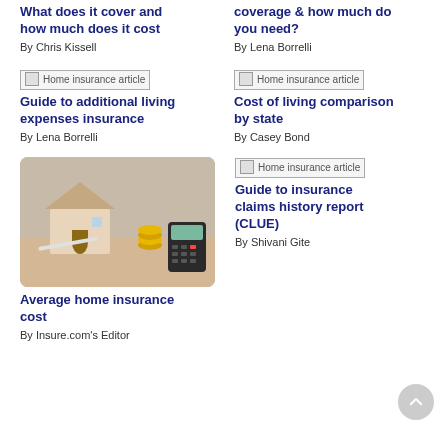What does it cover and how much does it cost
By Chris Kissell
coverage & how much do you need?
By Lena Borrelli
[Figure (photo): Broken image placeholder: Home insurance article]
Guide to additional living expenses insurance
By Lena Borrelli
[Figure (photo): Broken image placeholder: Home insurance article]
Cost of living comparison by state
By Casey Bond
[Figure (photo): Photo of a small wooden house model with coins and a calculator on a desk]
[Figure (photo): Broken image placeholder: Home insurance article]
Average home insurance cost
By Insure.com's Editor
Guide to insurance claims history report (CLUE)
By Shivani Gite